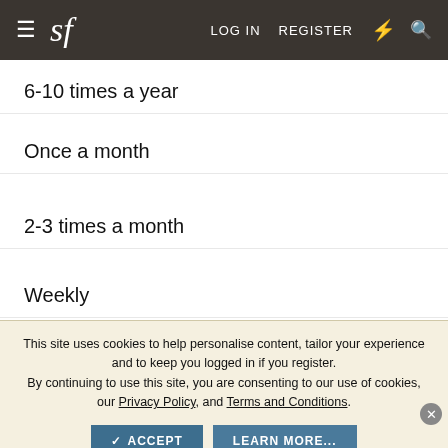sf  LOG IN  REGISTER
6-10 times a year
Once a month
2-3 times a month
Weekly
This site uses cookies to help personalise content, tailor your experience and to keep you logged in if you register. By continuing to use this site, you are consenting to our use of cookies, our Privacy Policy, and Terms and Conditions.
✓ ACCEPT   LEARN MORE...
FORUM SPONSORS
Ashburn OPEN 10AM–11PM 20356 Commonwealth Center ...